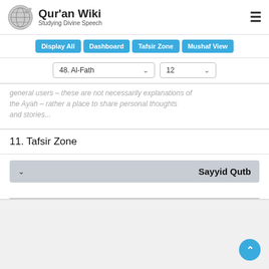Qur'an Wiki — Studying Divine Speech
Display All | Dashboard | Tafsir Zone | Mushaf View
48. Al-Fath   12
general users – these are not necessarily explanations of the Ayah – rather a place to share personal thoughts and stories...
11. Tafsir Zone
Sayyid Qutb